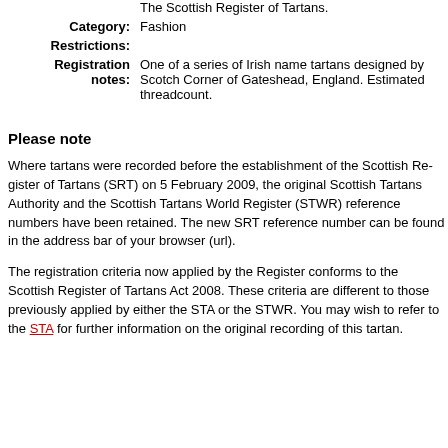The Scottish Register of Tartans.
Category: Fashion
Restrictions:
Registration notes: One of a series of Irish name tartans designed by Scotch Corner of Gateshead, England. Estimated threadcount.
Please note
Where tartans were recorded before the establishment of the Scottish Register of Tartans (SRT) on 5 February 2009, the original Scottish Tartans Authority and the Scottish Tartans World Register (STWR) reference numbers have been retained. The new SRT reference number can be found in the address bar of your browser (url).
The registration criteria now applied by the Register conforms to the Scottish Register of Tartans Act 2008. These criteria are different to those previously applied by either the STA or the STWR. You may wish to refer to the STA for further information on the original recording of this tartan.